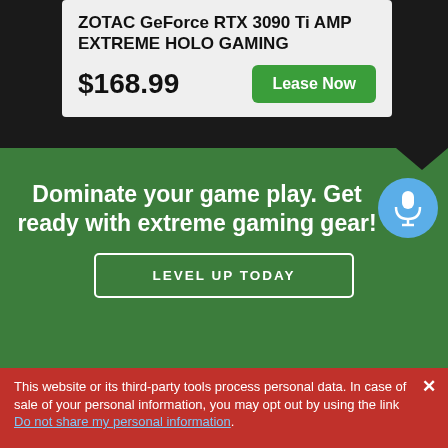ZOTAC GeForce RTX 3090 Ti AMP EXTREME HOLO GAMING
$168.99
Lease Now
Dominate your game play. Get ready with extreme gaming gear!
LEVEL UP TODAY
This website or its third-party tools process personal data. In case of sale of your personal information, you may opt out by using the link Do not share my personal information.